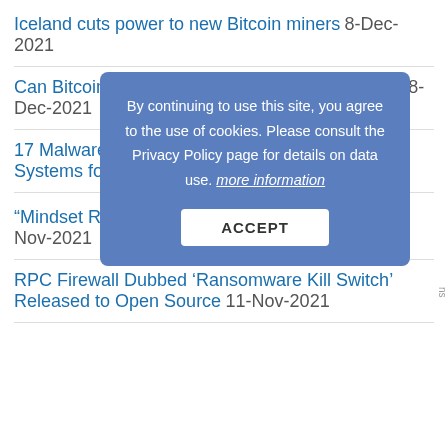Iceland cuts power to new Bitcoin miners 8-Dec-2021
Can Bitcoin's hard cap of 21 million be changed? 8-Dec-2021
By continuing to use this site, you agree to the use of cookies. Please consult the Privacy Policy page for details on data use. more information
17 Malware Frameworks Target Air-Gapped Systems for Espionage 4-Dec-2021
“Mindset Recognition” … à la Stefan Schnoor 14-Nov-2021
RPC Firewall Dubbed 'Ransomware Kill Switch' Released to Open Source 11-Nov-2021